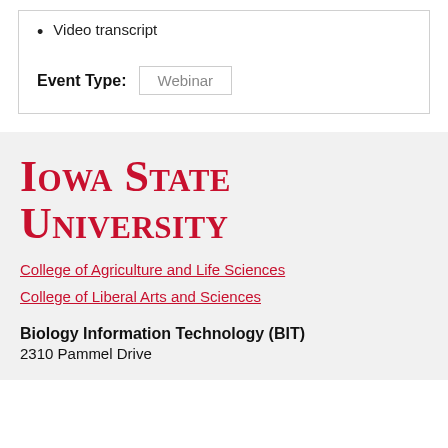Video transcript
Event Type: Webinar
[Figure (logo): Iowa State University logo in red serif text]
College of Agriculture and Life Sciences
College of Liberal Arts and Sciences
Biology Information Technology (BIT)
2310 Pammel Drive